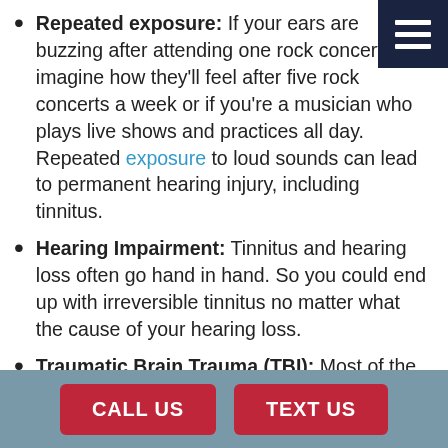Repeated exposure: If your ears are buzzing after attending one rock concert, imagine how they'll feel after five rock concerts a week or if you're a musician who plays live shows and practices all day. Repeated exposure to loud sounds can lead to permanent hearing injury, including tinnitus.
Hearing Impairment: Tinnitus and hearing loss often go hand in hand. So you could end up with irreversible tinnitus no matter what the cause of your hearing loss.
Traumatic Brain Trauma (TBI): Most of the processing of sound happens in the brain. When those processors begin to misfire, as a
CALL US   TEXT US